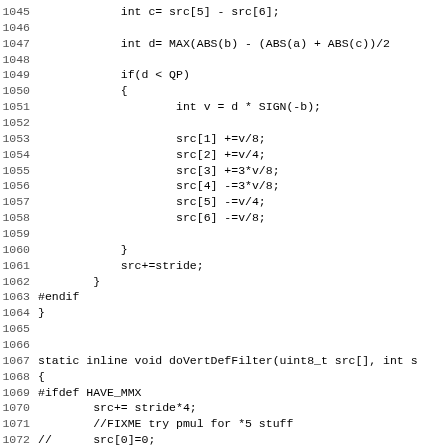Source code listing, lines 1045-1077, showing C code for a deblocking filter function including doVertDefFilter.